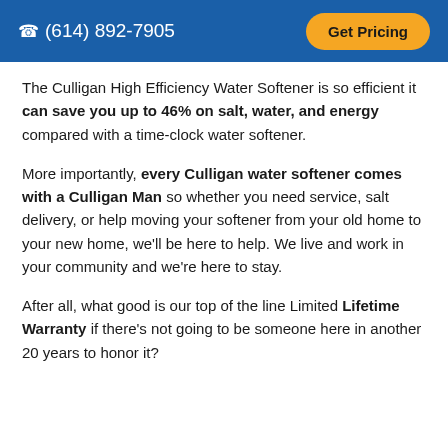(614) 892-7905   Get Pricing
The Culligan High Efficiency Water Softener is so efficient it can save you up to 46% on salt, water, and energy compared with a time-clock water softener.
More importantly, every Culligan water softener comes with a Culligan Man so whether you need service, salt delivery, or help moving your softener from your old home to your new home, we'll be here to help. We live and work in your community and we're here to stay.
After all, what good is our top of the line Limited Lifetime Warranty if there's not going to be someone here in another 20 years to honor it?